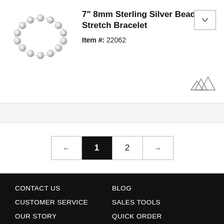[Figure (photo): Sterling silver bead stretch bracelet, circular arrangement of silver beads]
7" 8mm Sterling Silver Bead Stretch Bracelet
Item #: 22062
Pagination: ← 1 2 →
CONTACT US
CUSTOMER SERVICE
OUR STORY
CUSTOM DESIGNS
BLOG
SALES TOOLS
QUICK ORDER
JEWELRY
COLLECTIONS